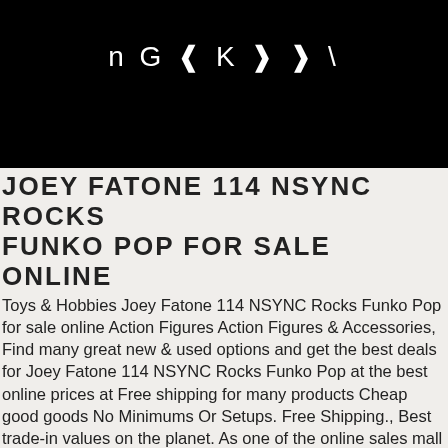[Figure (other): Black header banner with stylized text: n G ❰ K ❱ ❱ \]
JOEY FATONE 114 NSYNC ROCKS FUNKO POP FOR SALE ONLINE
Toys & Hobbies Joey Fatone 114 NSYNC Rocks Funko Pop for sale online Action Figures Action Figures & Accessories, Find many great new & used options and get the best deals for Joey Fatone 114 NSYNC Rocks Funko Pop at the best online prices at Free shipping for many products Cheap good goods No Minimums Or Setups. Free Shipping., Best trade-in values on the planet. As one of the online sales mall Joey Fatone 114 NSYNC Rocks Funko Pop for sale online, Joey Fatone 114 NSYNC Rocks Funko Pop for sale online Good products online NOW FREE RETURNS & FREE 7-DAY SHIPPING WORLDWIDE..